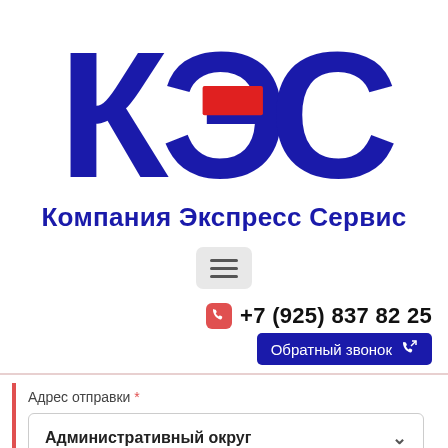[Figure (logo): КЭС logo with large blue Cyrillic letters К, Э, С and a red rectangle accent on the Э letter]
Компания Экспресс Сервис
[Figure (other): Hamburger menu button icon (three horizontal lines) on a light gray rounded rectangle background]
+7 (925) 837 82 25
Обратный звонок
Адрес отправки *
Административный округ
Улица *